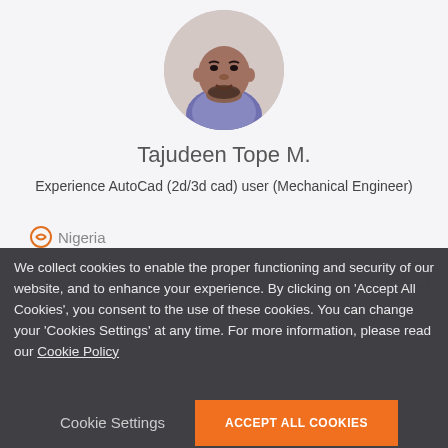[Figure (photo): Circular profile photo of a man (Tajudeen Tope M.) smiling, wearing a striped shirt]
Tajudeen Tope M.
Experience AutoCad (2d/3d cad) user (Mechanical Engineer)
Nigeria
We collect cookies to enable the proper functioning and security of our website, and to enhance your experience. By clicking on 'Accept All Cookies', you consent to the use of these cookies. You can change your 'Cookies Settings' at any time. For more information, please read our Cookie Policy
Cookie Settings
ACCEPT ALL COOKIES